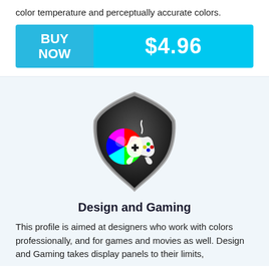color temperature and perceptually accurate colors.
BUY NOW  $4.96
[Figure (illustration): Shield icon with a color wheel and game controller inside, on a light blue background]
Design and Gaming
This profile is aimed at designers who work with colors professionally, and for games and movies as well. Design and Gaming takes display panels to their limits,